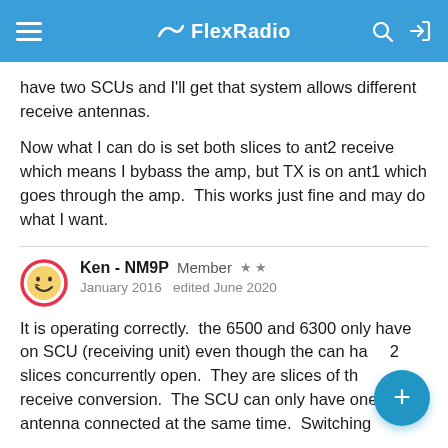FlexRadio
have two SCUs and I'll get that system allows different receive antennas.
Now what I can do is set both slices to ant2 receive which means I bybass the amp, but TX is on ant1 which goes through the amp.  This works just fine and may do what I want.
Ken - NM9P  Member  ★★
January 2016   edited June 2020
It is operating correctly.  the 6500 and 6300 only have on SCU (receiving unit) even though the can ha  2 slices concurrently open.  They are slices of th  e receive conversion.  The SCU can only have one antenna connected at the same time.  Switching